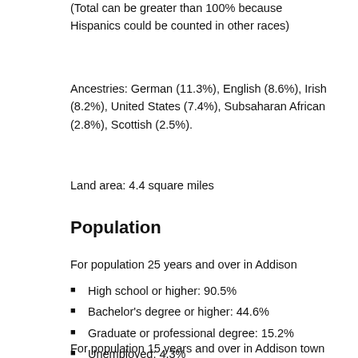(Total can be greater than 100% because Hispanics could be counted in other races)
Ancestries: German (11.3%), English (8.6%), Irish (8.2%), United States (7.4%), Subsaharan African (2.8%), Scottish (2.5%).
Land area: 4.4 square miles
Population
For population 25 years and over in Addison
High school or higher: 90.5%
Bachelor's degree or higher: 44.6%
Graduate or professional degree: 15.2%
Unemployed: 4.3%
Mean travel time to work: 23.2 minutes
For population 15 years and over in Addison town